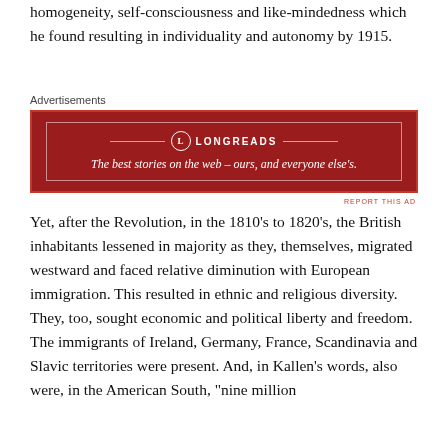homogeneity, self-consciousness and like-mindedness which he found resulting in individuality and autonomy by 1915.
[Figure (other): Longreads advertisement banner with red background. Logo circle with 'L', text reads 'LONGREADS'. Tagline: 'The best stories on the web – ours, and everyone else's.' Small 'REPORT THIS AD' link below.]
Yet, after the Revolution, in the 1810's to 1820's, the British inhabitants lessened in majority as they, themselves, migrated westward and faced relative diminution with European immigration. This resulted in ethnic and religious diversity. They, too, sought economic and political liberty and freedom. The immigrants of Ireland, Germany, France, Scandinavia and Slavic territories were present. And, in Kallen's words, also were, in the American South, "nine million